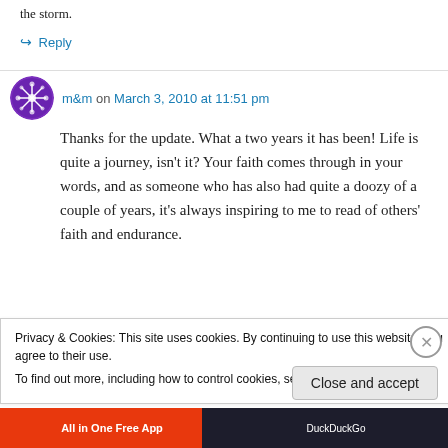the storm.
↪ Reply
m&m on March 3, 2010 at 11:51 pm
Thanks for the update. What a two years it has been! Life is quite a journey, isn't it? Your faith comes through in your words, and as someone who has also had quite a doozy of a couple of years, it's always inspiring to me to read of others' faith and endurance.
Privacy & Cookies: This site uses cookies. By continuing to use this website, you agree to their use. To find out more, including how to control cookies, see here: Cookie Policy
Close and accept